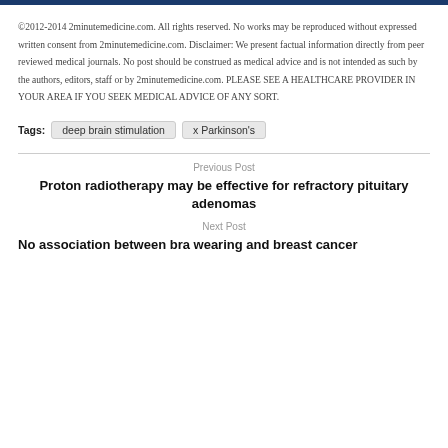©2012-2014 2minutemedicine.com. All rights reserved. No works may be reproduced without expressed written consent from 2minutemedicine.com. Disclaimer: We present factual information directly from peer reviewed medical journals. No post should be construed as medical advice and is not intended as such by the authors, editors, staff or by 2minutemedicine.com. PLEASE SEE A HEALTHCARE PROVIDER IN YOUR AREA IF YOU SEEK MEDICAL ADVICE OF ANY SORT.
Tags:  deep brain stimulation  x Parkinson's
Previous Post
Proton radiotherapy may be effective for refractory pituitary adenomas
Next Post
No association between bra wearing and breast cancer